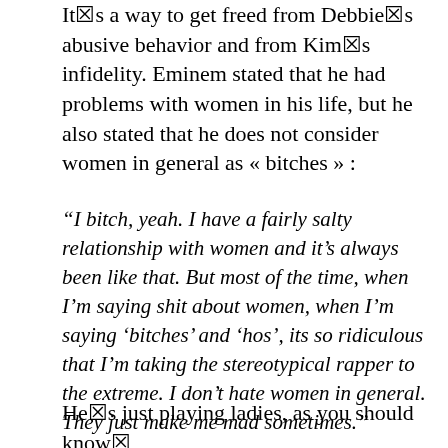It☒s a way to get freed from Debbie☒s abusive behavior and from Kim☒s infidelity. Eminem stated that he had problems with women in his life, but he also stated that he does not consider women in general as « bitches » :
“I bitch, yeah. I have a fairly salty relationship with women and it’s always been like that. But most of the time, when I’m saying shit about women, when I’m saying ‘bitches’ and ‘hos’, its so ridiculous that I’m taking the stereotypical rapper to the extreme. I don’t hate women in general. They just make me mad sometimes.”
He☒s just playing ladies, as you should know☒ And when he feels angry about a « bitch » or «